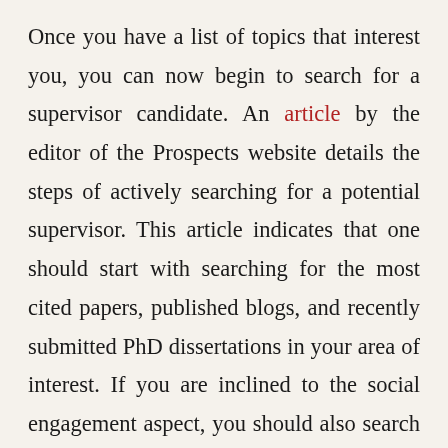Once you have a list of topics that interest you, you can now begin to search for a supervisor candidate. An article by the editor of the Prospects website details the steps of actively searching for a potential supervisor. This article indicates that one should start with searching for the most cited papers, published blogs, and recently submitted PhD dissertations in your area of interest. If you are inclined to the social engagement aspect, you should also search for researchers who also do some level of outreach activities. Once you have conducted this search, you should reduce your list to realistic potential researchers. For example, if